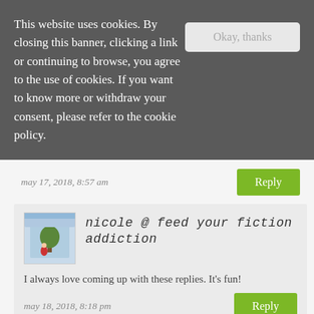This website uses cookies. By closing this banner, clicking a link or continuing to browse, you agree to the use of cookies. If you want to know more or withdraw your consent, please refer to the cookie policy.
lauren
may 17, 2018, 8:57 am
Reply
nicole @ feed your fiction addiction
I always love coming up with these replies. It's fun!
may 18, 2018, 8:18 pm
Reply